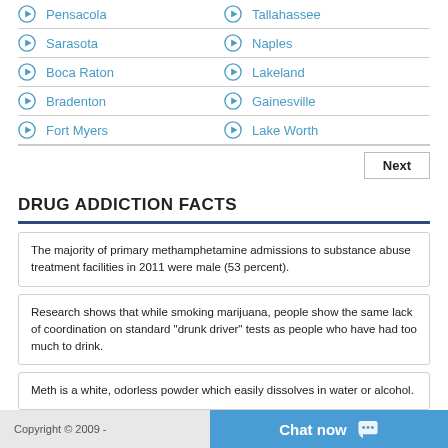Pensacola
Tallahassee
Sarasota
Naples
Boca Raton
Lakeland
Bradenton
Gainesville
Fort Myers
Lake Worth
DRUG ADDICTION FACTS
The majority of primary methamphetamine admissions to substance abuse treatment facilities in 2011 were male (53 percent).
Research shows that while smoking marijuana, people show the same lack of coordination on standard "drunk driver" tests as people who have had too much to drink.
Meth is a white, odorless powder which easily dissolves in water or alcohol.
Copyright © 2009 -